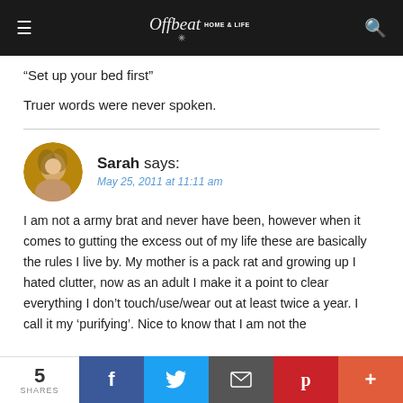Offbeat Home & Life
“Set up your bed first”
Truer words were never spoken.
Sarah says: May 25, 2011 at 11:11 am
I am not a army brat and never have been, however when it comes to gutting the excess out of my life these are basically the rules I live by. My mother is a pack rat and growing up I hated clutter, now as an adult I make it a point to clear everything I don't touch/use/wear out at least twice a year. I call it my ‘purifying’. Nice to know that I am not the
5 SHARES | Facebook | Twitter | Email | Pinterest | More